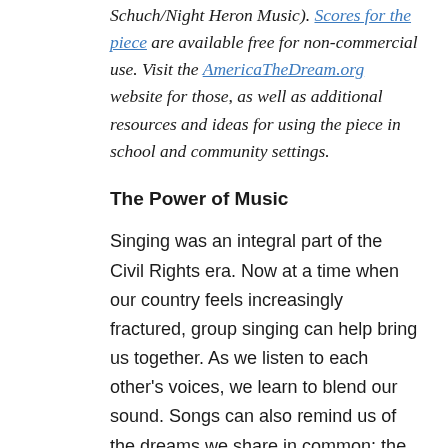Schuch/Night Heron Music). Scores for the piece are available free for non-commercial use. Visit the AmericaTheDream.org website for those, as well as additional resources and ideas for using the piece in school and community settings.
The Power of Music
Singing was an integral part of the Civil Rights era. Now at a time when our country feels increasingly fractured, group singing can help bring us together. As we listen to each other's voices, we learn to blend our sound. Songs can also remind us of the dreams we share in common: the promise of a community or nation that is more than any one of us alone